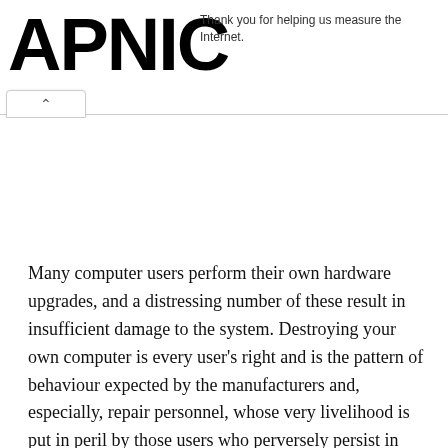APNIC — Thank you for helping us measure the Internet.
Many computer users perform their own hardware upgrades, and a distressing number of these result in insufficient damage to the system. Destroying your own computer is every user's right and is the pattern of behaviour expected by the manufacturers and, especially, repair personnel, whose very livelihood is put in peril by those users who perversely persist in correctly upgrading